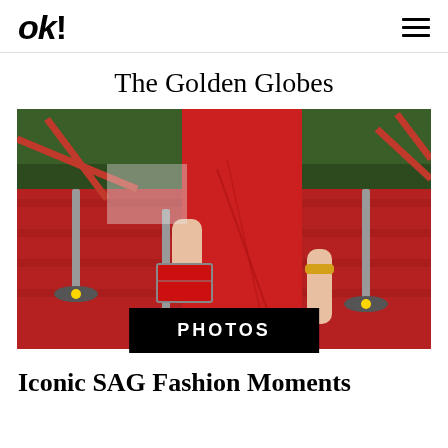OK!
The Golden Globes
[Figure (photo): A woman in a red dress on a red carpet, holding a red clutch purse, with red rope barriers and stanchions visible in the background. Overlay label reads PHOTOS.]
Iconic SAG Fashion Moments